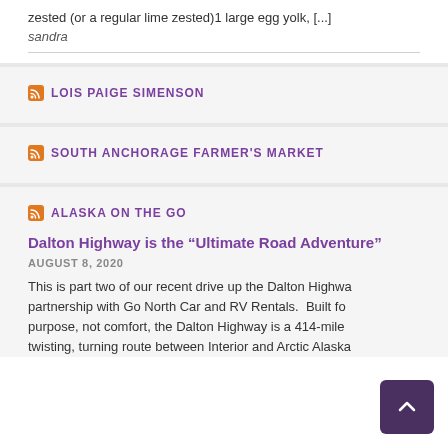zested (or a regular lime zested)1 large egg yolk, [...]
sandra
LOIS PAIGE SIMENSON
SOUTH ANCHORAGE FARMER'S MARKET
ALASKA ON THE GO
Dalton Highway is the “Ultimate Road Adventure”
AUGUST 8, 2020
This is part two of our recent drive up the Dalton Highway in partnership with Go North Car and RV Rentals.  Built for purpose, not comfort, the Dalton Highway is a 414-mile twisting, turning route between Interior and Arctic Alaska